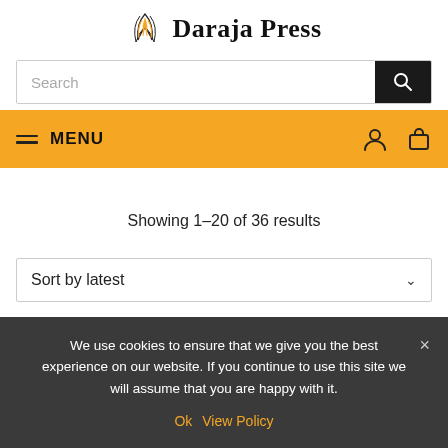Daraja Press
Search
MENU
Showing 1–20 of 36 results
Sort by latest
We use cookies to ensure that we give you the best experience on our website. If you continue to use this site we will assume that you are happy with it.
Ok  View Policy